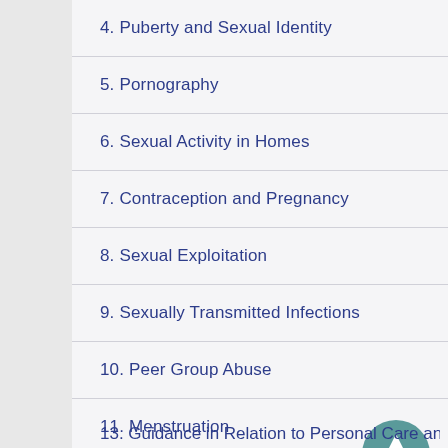4. Puberty and Sexual Identity
5. Pornography
6. Sexual Activity in Homes
7. Contraception and Pregnancy
8. Sexual Exploitation
9. Sexually Transmitted Infections
10. Peer Group Abuse
11. Menstruation
12. Enuresis and Encopresis
13. Guidance in Relation to Personal Care and...